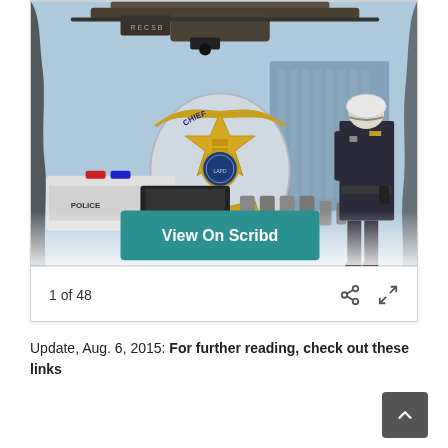[Figure (photo): LAPD (Los Angeles Police Department) composite image showing a Chief badge, a police car with 'POLICE' on the door, motorcycle officers lined up, a police officer in uniform with white helmet, and a helicopter above. A teal 'View On Scribd' button overlays the bottom center of the image.]
1 of 48
Update, Aug. 6, 2015: For further reading, check out these links